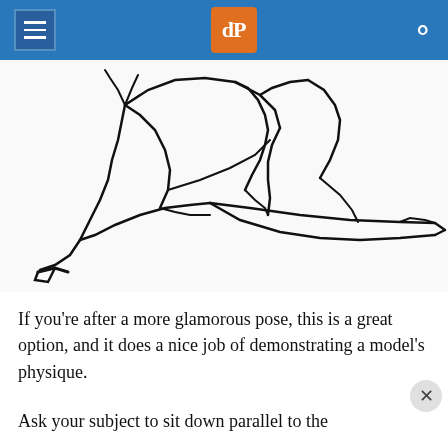dPS
[Figure (illustration): Line drawing sketch of a reclining female figure, showing legs and lower body in a glamorous pose, with high heels visible on the left side.]
If you’re after a more glamorous pose, this is a great option, and it does a nice job of demonstrating a model’s physique.
Ask your subject to sit down parallel to the